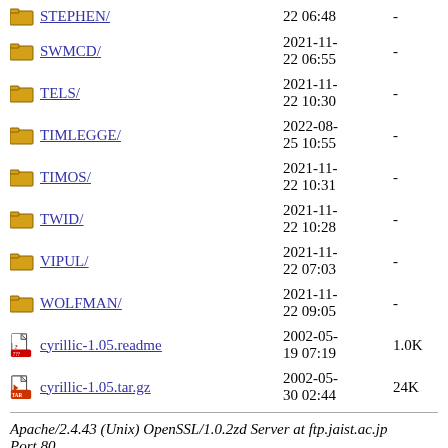STEPHEN/  2021-11-22 06:48  -
SWMCD/  2021-11-22 06:55  -
TELS/  2021-11-22 10:30  -
TIMLEGGE/  2022-08-25 10:55  -
TIMOS/  2021-11-22 10:31  -
TWID/  2021-11-22 10:28  -
VIPUL/  2021-11-22 07:03  -
WOLFMAN/  2021-11-22 09:05  -
cyrillic-1.05.readme  2002-05-19 07:19  1.0K
cyrillic-1.05.tar.gz  2002-05-30 02:44  24K
Apache/2.4.43 (Unix) OpenSSL/1.0.2zd Server at ftp.jaist.ac.jp Port 80